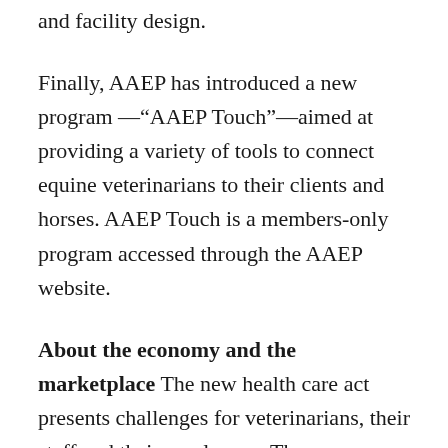and facility design.
Finally, AAEP has introduced a new program —"AAEP Touch"—aimed at providing a variety of tools to connect equine veterinarians to their clients and horses. AAEP Touch is a members-only program accessed through the AAEP website.
About the economy and the marketplace The new health care act presents challenges for veterinarians, their staff and their employees. The government estimates are that health care costs will exceed 70% of the nation's gross domestic product by 2090. Even if that projection does not come true, solutions to the rising costs of health